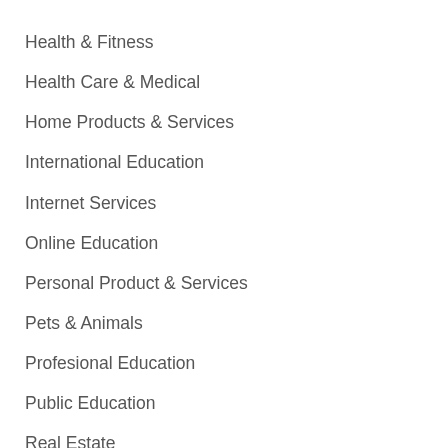Health & Fitness
Health Care & Medical
Home Products & Services
International Education
Internet Services
Online Education
Personal Product & Services
Pets & Animals
Profesional Education
Public Education
Real Estate
Relationships